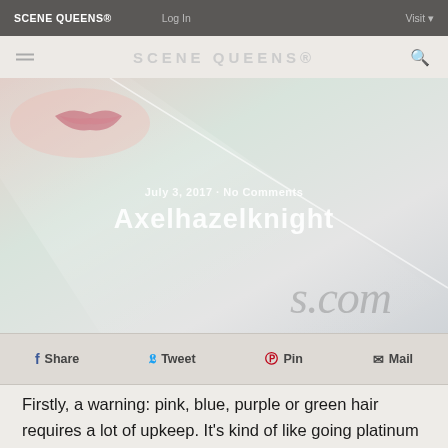SCENE QUEENS® | Log In | Visit
[Figure (photo): Hero banner image showing closeup of lips on a soft pastel background with diagonal light reflection and watermark text '.com'. Overlay text reads: July 3, 2017 · No Comments and Axelhazelknight]
Share  Tweet  Pin  Mail
Firstly, a warning: pink, blue, purple or green hair requires a lot of upkeep. It's kind of like going platinum — it's a time and effort